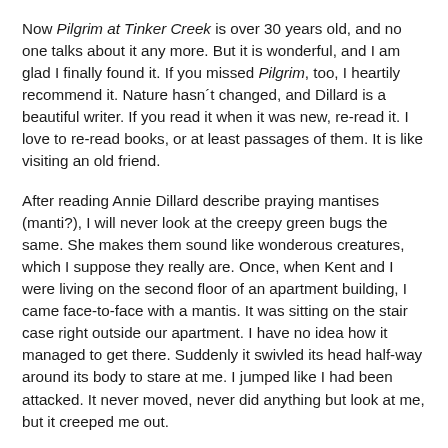Now Pilgrim at Tinker Creek is over 30 years old, and no one talks about it any more. But it is wonderful, and I am glad I finally found it. If you missed Pilgrim, too, I heartily recommend it. Nature hasn´t changed, and Dillard is a beautiful writer. If you read it when it was new, re-read it. I love to re-read books, or at least passages of them. It is like visiting an old friend.
After reading Annie Dillard describe praying mantises (manti?), I will never look at the creepy green bugs the same. She makes them sound like wonderous creatures, which I suppose they really are. Once, when Kent and I were living on the second floor of an apartment building, I came face-to-face with a mantis. It was sitting on the stair case right outside our apartment. I have no idea how it managed to get there. Suddenly it swivled its head half-way around its body to stare at me. I jumped like I had been attacked. It never moved, never did anything but look at me, but it creeped me out.
This fall I saw one here in Arizona, and I was amazed. It was